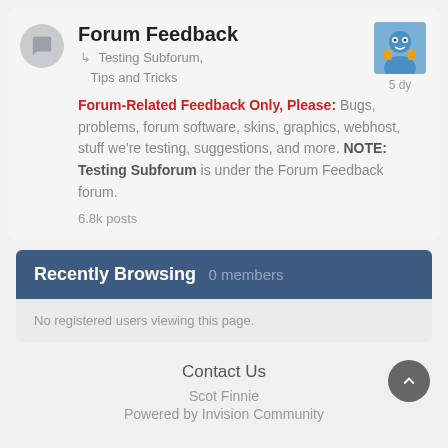Forum Feedback
Testing Subforum, Tips and Tricks
Forum-Related Feedback Only, Please: Bugs, problems, forum software, skins, graphics, webhost, stuff we're testing, suggestions, and more. NOTE: Testing Subforum is under the Forum Feedback forum.
6.8k posts
Recently Browsing  0 members
No registered users viewing this page.
Contact Us
Scot Finnie
Powered by Invision Community